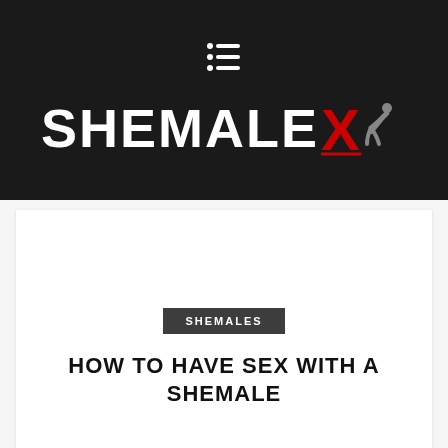[Figure (logo): ShemaleX logo — white bold sans-serif text 'SHEMALE' with red bold 'X' and a grey silhouette figure, on dark background, with a hamburger menu icon above]
SHEMALES
HOW TO HAVE SEX WITH A SHEMALE